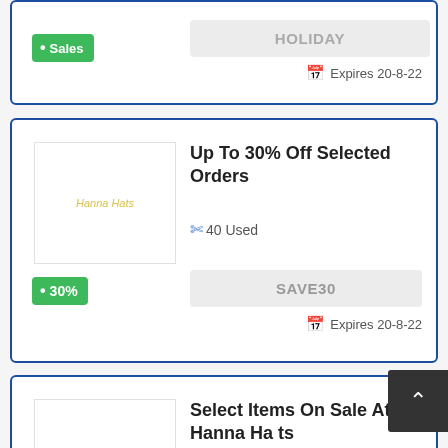[Figure (other): Coupon card 1 - Sales badge for HOLIDAY code, expires 20-8-22]
[Figure (other): Coupon card 2 - 30% off badge, Up To 30% Off Selected Orders, SAVE30 code, 40 Used, expires 20-8-22]
[Figure (other): Coupon card 3 - Sales badge, Select Items On Sale At Hanna Hats, LOVE code, 58 Used, expires 20-8-22]
[Figure (other): Coupon card 4 - partial view at bottom]